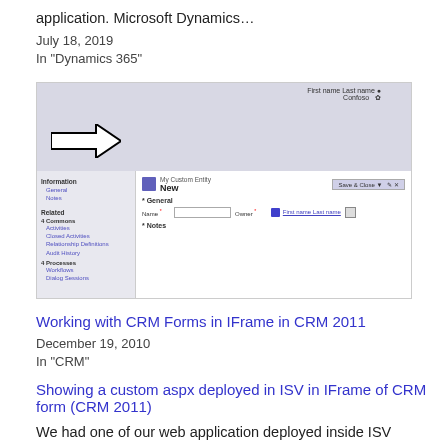application. Microsoft Dynamics…
July 18, 2019
In "Dynamics 365"
[Figure (screenshot): Screenshot of Microsoft CRM 2011 form showing a custom entity form with navigation sidebar, arrow pointing to the form, fields for Name and Owner, and sections for General and Notes.]
Working with CRM Forms in IFrame in CRM 2011
December 19, 2010
In "CRM"
Showing a custom aspx deployed in ISV in IFrame of CRM form (CRM 2011)
We had one of our web application deployed inside ISV folder in CRM 2011. We were showing one of the aspx pages in it inside an IFrame of